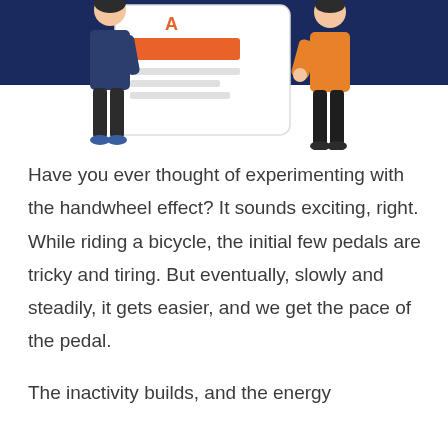[Figure (illustration): Illustration of two people interacting with a large mobile/tablet screen showing a document with orange elements, against a dark navy blue background. Left person is female, right person is in orange jacket. Both figures are partially cropped at the top of the page.]
Have you ever thought of experimenting with the handwheel effect? It sounds exciting, right. While riding a bicycle, the initial few pedals are tricky and tiring. But eventually, slowly and steadily, it gets easier, and we get the pace of the pedal.
The inactivity builds, and the energy